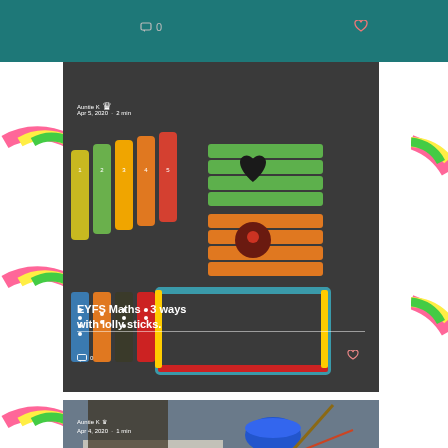[Figure (screenshot): Top of a blog/website card with teal background showing comment icon with '0' and a heart icon]
[Figure (photo): Rainbow drawings background on left and right sides of page]
[Figure (photo): Main blog post card showing lolly (popsicle) sticks arranged for maths activities, numbered and colored sticks on grey carpet background]
Auntie K
Apr 5, 2020 · 2 min
EYFS Maths - 3 ways with lolly sticks.
0
[Figure (photo): Bottom blog post card showing art/painting activity with blue paint pot and brushes]
Auntie K
Apr 4, 2020 · 1 min